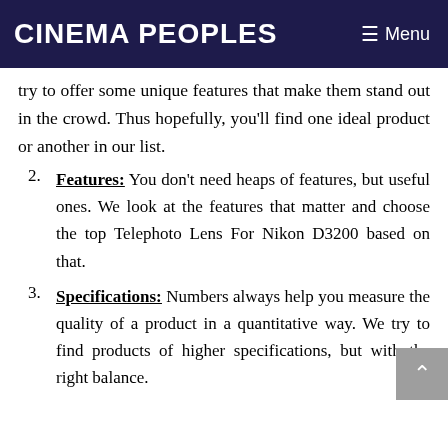Cinema Peoples   ≡ Menu
try to offer some unique features that make them stand out in the crowd. Thus hopefully, you'll find one ideal product or another in our list.
2. Features: You don't need heaps of features, but useful ones. We look at the features that matter and choose the top Telephoto Lens For Nikon D3200 based on that.
3. Specifications: Numbers always help you measure the quality of a product in a quantitative way. We try to find products of higher specifications, but with the right balance.